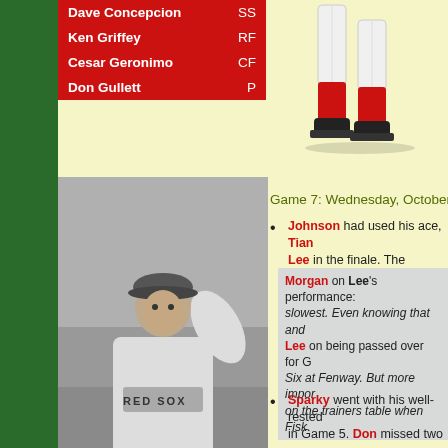| Player | Position |
| --- | --- |
| Dave Concepcion | SS |
| Ken Griffey | RF |
| Cesar Geronimo | CF |
| Don Gullett | P |
[Figure (illustration): Baseball player uniform illustration showing lower body with red socks and cleats]
[Figure (photo): Black and white photo of Bill Lee pitching in Red Sox uniform]
Bill Lee
Game 7: Wednesday, October 22 @ Fen
Johnson had used his ace, Tian Lee in the finale. The southpaw h
Morgan on Lee's performance: slowest. Even knowing that and Lee on being passed over for G Six at Fenway. But more impor on the trainers table when Fisk
Sparky went with his well-rested in Game 5. Don missed two mon victories against only 4 defeats.
The Series was already being ha TV ratings in history.
NBC broadcast the Series on television a
Curt Gowdy called the play-by-p Martin of the Red Sox handled th
Joe Garagiola and Marty Brenn
The weather could not have been better
1st inning
Pete Rose, hitting right-handed a sought
[Figure (photo): Color photo of Don Gullett in Cincinnati Reds uniform, number 35, with autograph]